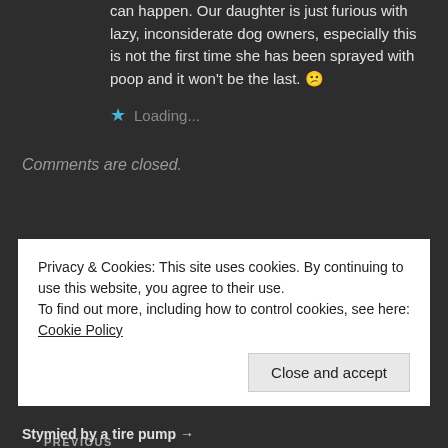can happen. Our daughter is just furious with lazy, inconsiderate dog owners, especially this is not the first time she has been sprayed with poop and it won't be the last. 😕
★ Loading...
Comments are closed.
PREVIOUS
Privacy & Cookies: This site uses cookies. By continuing to use this website, you agree to their use.
To find out more, including how to control cookies, see here: Cookie Policy
Close and accept
Stymied by a tire pump →